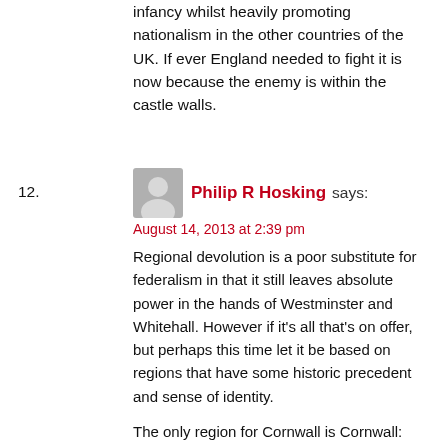infancy whilst heavily promoting nationalism in the other countries of the UK. If ever England needed to fight it is now because the enemy is within the castle walls.
12. Philip R Hosking says:
August 14, 2013 at 2:39 pm
Regional devolution is a poor substitute for federalism in that it still leaves absolute power in the hands of Westminster and Whitehall. However if it's all that's on offer, but perhaps this time let it be based on regions that have some historic precedent and sense of identity.

The only region for Cornwall is Cornwall:
http://www.cornishassembly.org/